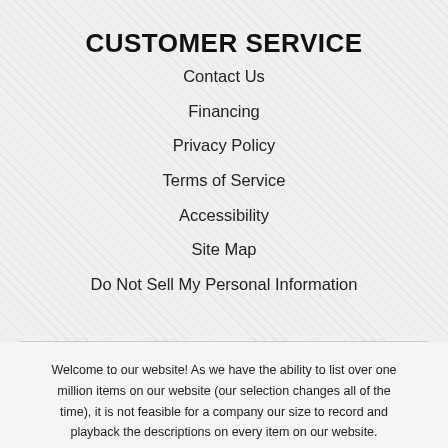CUSTOMER SERVICE
Contact Us
Financing
Privacy Policy
Terms of Service
Accessibility
Site Map
Do Not Sell My Personal Information
Welcome to our website! As we have the ability to list over one million items on our website (our selection changes all of the time), it is not feasible for a company our size to record and playback the descriptions on every item on our website. However, if you have a disability we are here to help you. Please call our disability services phone line at (208) 983-1040 during regular business hours and one of our kind and friendly personal shoppers will help you navigate through our website, help conduct advanced searches, help you choose the item you are looking for with the specifications you are seeking, read you the specifications of any item and consult with you about the products themselves. There is no charge for the